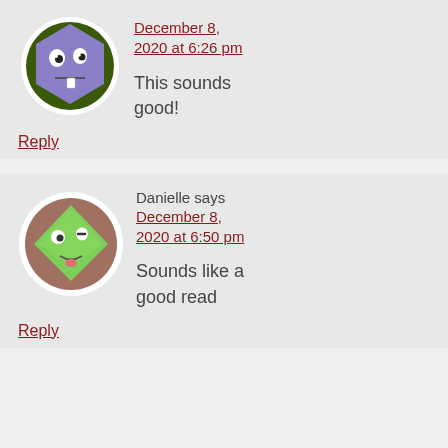[Figure (illustration): Purple hexagon cartoon avatar with googly eyes and buck tooth, on dark green background inside a white circle]
December 8, 2020 at 6:26 pm
This sounds good!
Reply
[Figure (illustration): Green diamond-shaped cartoon frog avatar with googly eyes and tongue sticking out, on brown background inside a white circle]
Danielle says
December 8, 2020 at 6:50 pm
Sounds like a good read
Reply